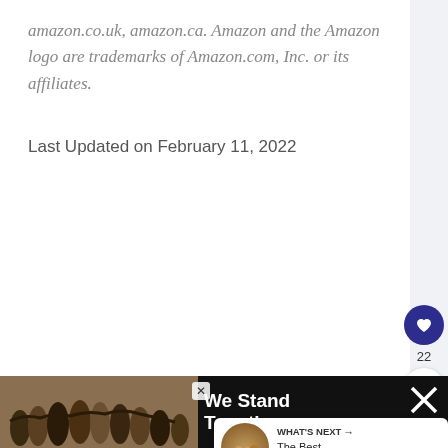amazon.co.uk, amazon.ca. Amazon and the Amazon logo are trademarks of Amazon.com, Inc. or its affiliates.
Last Updated on February 11, 2022
[Figure (other): Heart/like button (dark blue circle with heart icon), count 22, and share button]
[Figure (other): What's Next panel with thumbnail image and text 'The Best Pintxos...']
[Figure (other): Advertisement banner at bottom: group photo with text 'We Stand Together' and close/mute icons]